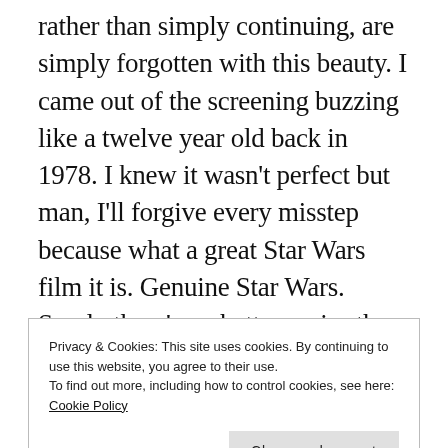rather than simply continuing, are simply forgotten with this beauty. I came out of the screening buzzing like a twelve year old back in 1978. I knew it wasn't perfect but man, I'll forgive every misstep because what a great Star Wars film it is. Genuine Star Wars. Surely there's no better praise than that. It even possibly revitalises watching Star Wars: A New Hope in future- a hell of an achievement. What a great two-parter/double-bill these two films will make on Blu-ray
Privacy & Cookies: This site uses cookies. By continuing to use this website, you agree to their use.
To find out more, including how to control cookies, see here: Cookie Policy
joke is finally done.